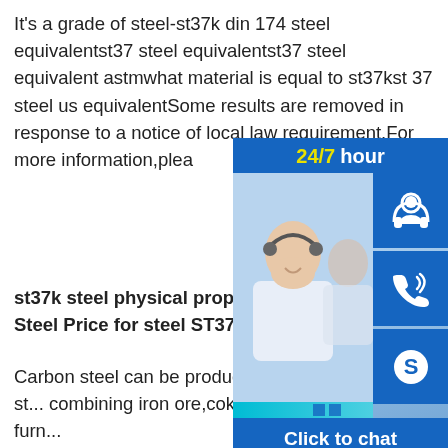It's a grade of steel-st37k din 174 steel equivalentst37 steel equivalentst37 steel equivalent astmwhat material is equal to st37kst 37 steel us equivalentSome results are removed in response to a notice of local law requirement.For more information,plea...
st37k steel physical properties-Truh... Steel Price for steel ST37K
Carbon steel can be produced from re... steel or a combination of both.Virgin st... combining iron ore,coke (produced by... absence of air) and lime in a blast furn...
st37k steel physical properties#176;C... extracted from the. Carbon Steel Properties,Examples and Applications -Carbon steel can be produced from recycled steel datasheet for st37kst37 steel equivalent astmst37 steel equivalentmaterial st37Material Conversion For St 37 - chat.prese.roFOR STAINLESS STEEL.St37k Equivalent Material Jhroundbar.Harga Plat Mild Steel,400 Pound,Steel,Nonferrous,P5/37...
[Figure (photo): Customer service chat widget showing a smiling female agent with headset, icons for headset/phone/Skype, 24/7 hour label, and Click to chat button]